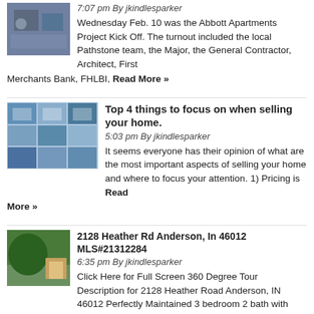[Figure (photo): Small thumbnail photo of people at a meeting/event]
7:07 pm By jkindlesparker
Wednesday Feb. 10 was the Abbott Apartments Project Kick Off. The turnout included the local Pathstone team, the Major, the General Contractor, Architect, First Merchants Bank, FHLBI, Read More »
[Figure (photo): Collage of house/building photos]
Top 4 things to focus on when selling your home.
5:03 pm By jkindlesparker
It seems everyone has their opinion of what are the most important aspects of selling your home and where to focus your attention. 1) Pricing is Read More »
[Figure (photo): Photo of house with tree]
2128 Heather Rd Anderson, In 46012 MLS#21312284
6:35 pm By jkindlesparker
Click Here for Full Screen 360 Degree Tour     Description for 2128 Heather Road Anderson, IN 46012 Perfectly Maintained 3 bedroom 2 bath with large, Read More »
[Figure (photo): Photo of person for interview article]
Interview with Jerry Ferguson on Home Inspections and Code Requirements
3:50 pm By jkindlesparker